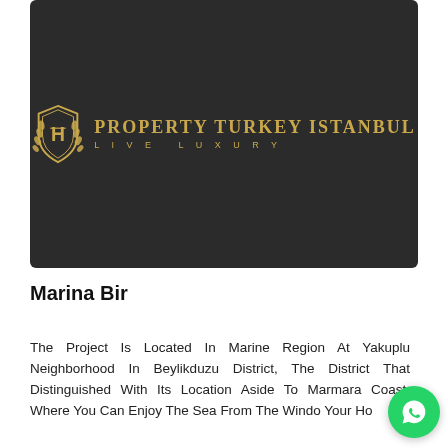[Figure (logo): Property Turkey Istanbul – Live Luxury logo on dark background. Gold shield emblem with stylized letters, gold serif brand name and spaced-out tagline.]
Marina Bir
The Project Is Located In Marine Region At Yakuplu Neighborhood In Beylikduzu District, The District That Distinguished With Its Location Aside To Marmara Coast, Where You Can Enjoy The Sea From The Windows Your Ho